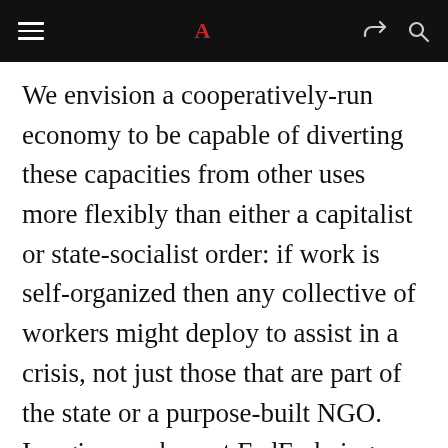≡  A  ↪ 🔍
We envision a cooperatively-run economy to be capable of diverting these capacities from other uses more flexibly than either a capitalist or state-socialist order: if work is self-organized then any collective of workers might deploy to assist in a crisis, not just those that are part of the state or a purpose-built NGO. Imagine workers at FedEx being able to choose to dedicate some of their planes for sending vital supplies, or a builder's union in Nigeria erecting a dozen Ebola treatment centers. If profit were not the constant purpose